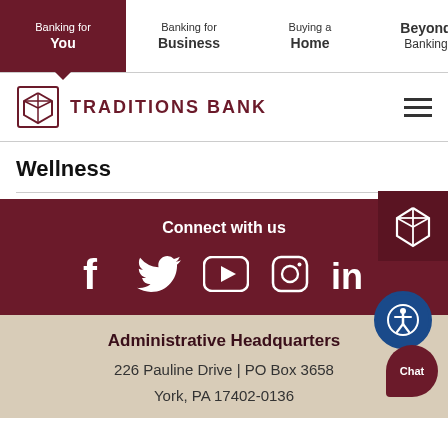Banking for You | Banking for Business | Buying a Home | Beyond Banking
[Figure (logo): Traditions Bank logo with cube icon]
Wellness
Connect with us
[Figure (infographic): Social media icons: Facebook, Twitter, YouTube, Instagram, LinkedIn]
Administrative Headquarters
226 Pauline Drive | PO Box 3658
York, PA 17402-0136